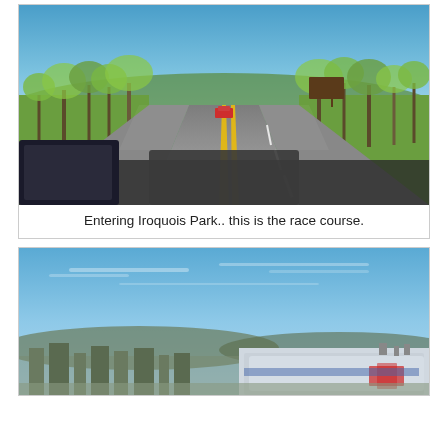[Figure (photo): View from inside a vehicle driving into Iroquois Park. A two-lane road with a double yellow center line leads straight ahead into a tree-lined park with green and bare trees under a blue sky. A red vehicle is visible ahead on the road. A brown park sign is visible on the right side. A dark-colored device/tablet is visible in the lower-left corner.]
Entering Iroquois Park.. this is the race course.
[Figure (photo): View from an elevated vantage point showing a city or town skyline under a blue sky with light clouds. Hills are visible in the background. In the foreground/lower portion, a white and blue emergency vehicle (ambulance or similar) with red markings is partially visible.]